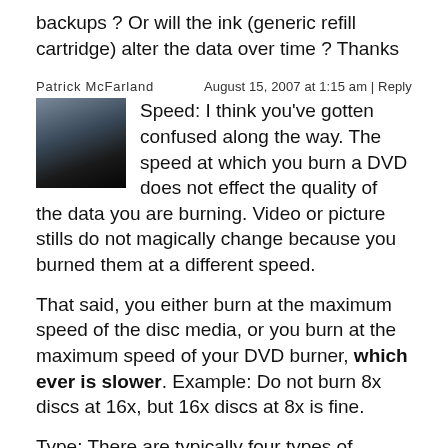backups ? Or will the ink (generic refill cartridge) alter the data over time ? Thanks
Patrick McFarland
August 15, 2007 at 1:15 am | Reply
[Figure (photo): Small thumbnail avatar photo showing a dark sky or abstract dark image]
Speed: I think you've gotten confused along the way. The speed at which you burn a DVD does not effect the quality of the data you are burning. Video or picture stills do not magically change because you burned them at a different speed.
That said, you either burn at the maximum speed of the disc media, or you burn at the maximum speed of your DVD burner, which ever is slower. Example: Do not burn 8x discs at 16x, but 16x discs at 8x is fine.
Type: There are typically four types of printing